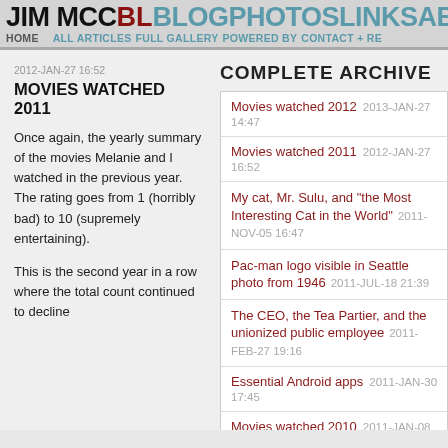JIM MCCBLBOG PHOTOS LINKS ABOUT HOME ALL ARTICLES FULL GALLERY POWERED BY CONTACT + RE
2012-JAN-27 16:52
MOVIES WATCHED 2011
Once again, the yearly summary of the movies Melanie and I watched in the previous year. The rating goes from 1 (horribly bad) to 10 (supremely entertaining).

This is the second year in a row where the total count continued to decline
COMPLETE ARCHIVE
Movies watched 2012  2013-JAN-27 14:47
Movies watched 2011  2012-JAN-27 16:52
My cat, Mr. Sulu, and "the Most Interesting Cat in the World"  2011-NOV-05 16:47
Pac-man logo visible in Seattle photo from 1946  2011-JUL-18 21:39
The CEO, the Tea Partier, and the unionized public employee  2011-FEB-27 19:16
Essential Android apps  2011-JAN-30 17:45
Movies watched 2010  2011-JAN-08 19:18
Tron 10-year reunion